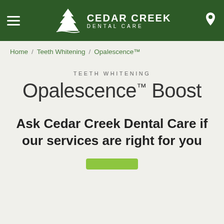[Figure (logo): Cedar Creek Dental Care logo with tree icon on dark green header background]
Home / Teeth Whitening / Opalescence™
TEETH WHITENING
Opalescence™ Boost
Ask Cedar Creek Dental Care if our services are right for you